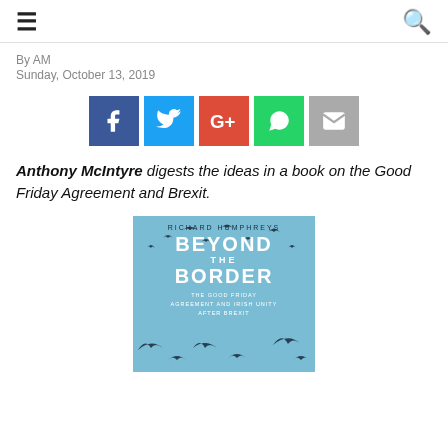≡  🔍
By AM
Sunday, October 13, 2019
[Figure (infographic): Social sharing buttons: Facebook (blue), Twitter (cyan), Google+ (red), WhatsApp (green), Email (grey)]
Anthony McIntyre digests the ideas in a book on the Good Friday Agreement and Brexit.
[Figure (photo): Book cover: Richard Humphreys - Beyond The Border: The Good Friday Agreement and Irish Unity After Brexit. Light blue cover with bird silhouettes.]